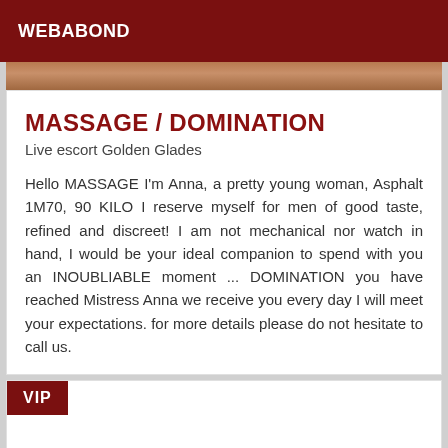WEBABOND
[Figure (photo): Partial photo strip showing a person, cropped to a narrow horizontal band]
MASSAGE / DOMINATION
Live escort Golden Glades
Hello MASSAGE I'm Anna, a pretty young woman, Asphalt 1M70, 90 KILO I reserve myself for men of good taste, refined and discreet! I am not mechanical nor watch in hand, I would be your ideal companion to spend with you an INOUBLIABLE moment ... DOMINATION you have reached Mistress Anna we receive you every day I will meet your expectations. for more details please do not hesitate to call us.
VIP